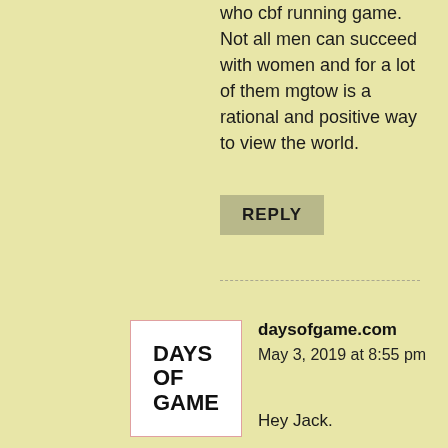who cbf running game. Not all men can succeed with women and for a lot of them mgtow is a rational and positive way to view the world.
REPLY
daysofgame.com
May 3, 2019 at 8:55 pm
Hey Jack.
I can see you being gracious to